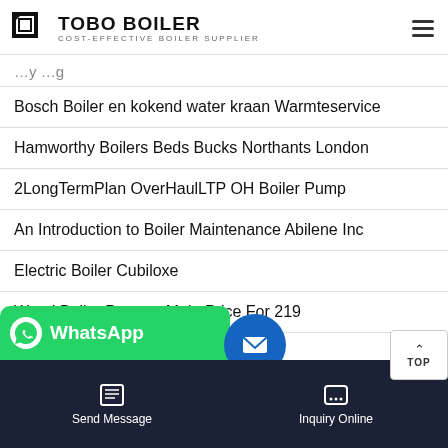TOBO BOILER - COST-EFFECTIVE BOILER SUPPLIER
Bosch Boiler en kokend water kraan Warmteservice
Hamworthy Boilers Beds Bucks Northants London
2LongTermPlan OverHaulLTP OH Boiler Pump
An Introduction to Boiler Maintenance Abilene Inc
Electric Boiler Cubiloxe
Wood Boiler Portage Main Price For 219
[Figure (screenshot): WhatsApp contact button (green), blue email circle button, and dark bottom navigation bar with Send Message and Inquiry Online options]